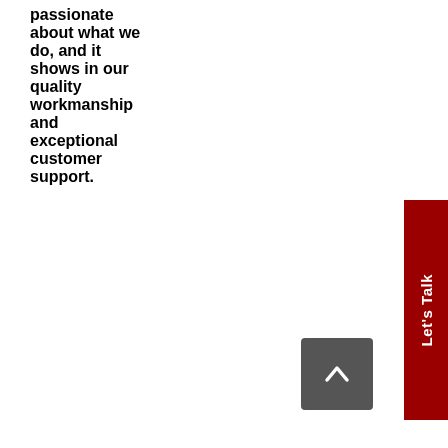passionate about what we do, and it shows in our quality workmanship and exceptional customer support.
[Figure (other): Red vertical 'Let's Talk' button on right edge of page]
[Figure (other): Dark grey scroll-to-top button with upward chevron arrow]